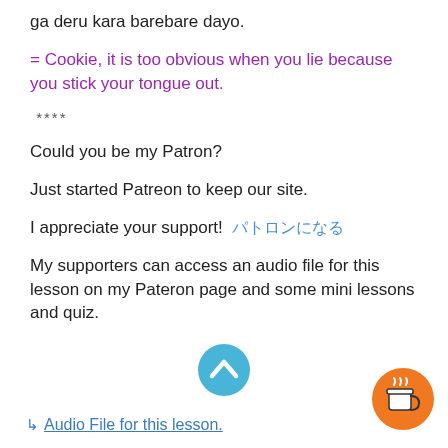ga deru kara barebare dayo.
= Cookie, it is too obvious when you lie because you stick your tongue out.
****
Could you be my Patron?
Just started Patreon to keep our site.
I appreciate your support!  パトロンになる
My supporters can access an audio file for this lesson on my Pateron page and some mini lessons and quiz.
[Figure (illustration): Blue circular scroll-up button with upward chevron icon]
[Figure (illustration): Orange circular coffee/Buy me a coffee button with coffee cup icon]
↳ Audio File for this lesson.